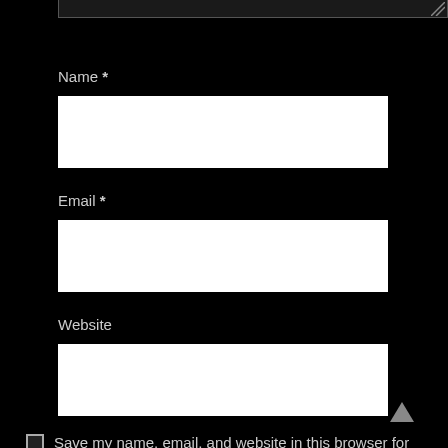[Figure (screenshot): Top portion of a textarea input field (partially visible at top of page), dark background form]
Name *
[Figure (screenshot): White text input box for Name field]
Email *
[Figure (screenshot): White text input box for Email field]
Website
[Figure (screenshot): White text input box for Website field]
Save my name, email, and website in this browser for the next time I comment.
Post Comment